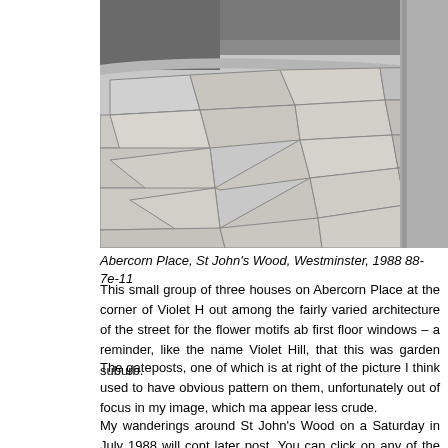[Figure (photo): Black and white photograph of a stone paved area at Abercorn Place, St John's Wood, Westminster. The paving stones are large irregular flags. A curved retaining wall and trees are visible in the background. A concrete or stone pillar/column is visible on the right edge of the frame.]
Abercorn Place, St John's Wood, Westminster, 1988 88-7e-11
This small group of three houses on Abercorn Place at the corner of Violet Hill stand out among the fairly varied architecture of the street for the flower motifs above the first floor windows – a reminder, like the name Violet Hill, that this was once garden suburb.
The gateposts, one of which is at right of the picture I think used to have some obvious pattern on them, unfortunately out of focus in my image, which makes them appear less crude.
My wanderings around St John's Wood on a Saturday in July 1988 will continue in a later post. You can click on any of the pictures here to go to a larger version in the album 1988 London Photos, from where you can browse the album.